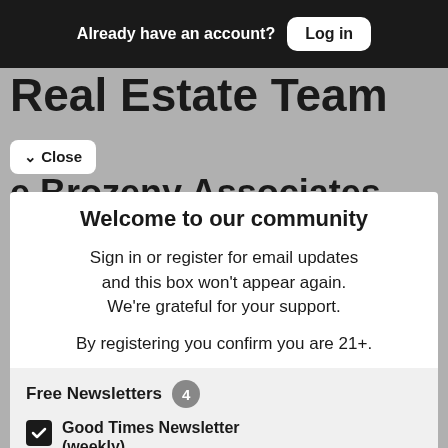Already have an account? Log in
Real Estate Team
Close
e Brozeny Associates
Welcome to our community
Sign in or register for email updates and this box won't appear again. We're grateful for your support.
By registering you confirm you are 21+.
Free Newsletters 4
Good Times Newsletter (weekly)
News stories, arts and dining